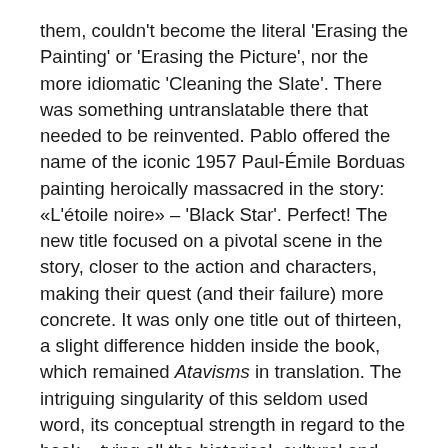them, couldn't become the literal 'Erasing the Painting' or 'Erasing the Picture', nor the more idiomatic 'Cleaning the Slate'. There was something untranslatable there that needed to be reinvented. Pablo offered the name of the iconic 1957 Paul-Émile Borduas painting heroically massacred in the story: «L'étoile noire» – 'Black Star'. Perfect! The new title focused on a pivotal scene in the story, closer to the action and characters, making their quest (and their failure) more concrete. It was only one title out of thirteen, a slight difference hidden inside the book, which remained Atavisms in translation. The intriguing singularity of this seldom used word, its conceptual strength in regard to the book – tying all the historical, cultural and more intimate, familial aspects of the stories together – and that it has the  same meaning in either language, were good reasons to keep it.
But oftentimes books themselves have to be renamed for different reasons, and the reading experience as a whole is modified: do these books with distinct titles tell the same